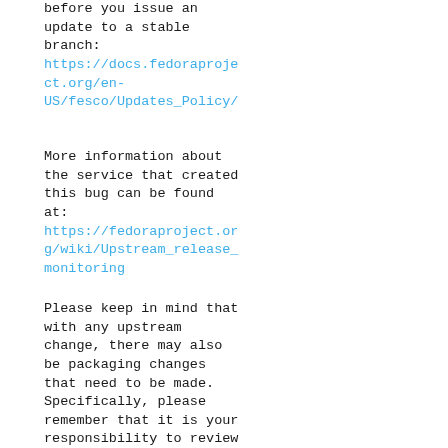before you issue an update to a stable branch: https://docs.fedoraproject.org/en-US/fesco/Updates_Policy/
More information about the service that created this bug can be found at: https://fedoraproject.org/wiki/Upstream_release_monitoring
Please keep in mind that with any upstream change, there may also be packaging changes that need to be made. Specifically, please remember that it is your responsibility to review the new version to ensure that the licensing is still correct and that no non-free or legally